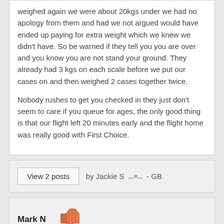weighed again we were about 20kgs under we had no apology from them and had we not argued would have ended up paying for extra weight which we knew we didn't have. So be warned if they tell you you are over and you know you are not stand your ground. They already had 3 kgs on each scale before we put our cases on and then weighed 2 cases together twice.

Nobody rushes to get you checked in they just don't seem to care if you queue for ages, the only good thing is that our flight left 20 minutes early and the flight home was really good with First Choice.
View 2 posts by Jackie S - GB
Mark N
What a nighmare Check in was fine but wait till you check out !!!